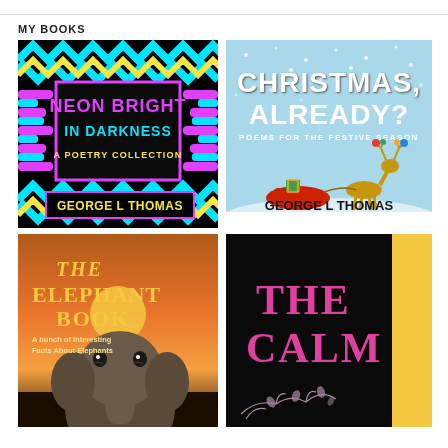MY BOOKS
[Figure (illustration): Book cover: Neon Bright in Darkness – A Poetry Collection by George L Thomas. Black background with neon zigzag/chevron pattern in cyan, yellow, magenta. Central black box with neon text title. Author name in yellow on black banner at bottom.]
[Figure (illustration): Book cover: Christmas, Already? Poems for the Festive Season by George L Thomas. Light blue snowy background with cartoon reindeer and red sleigh. White bold title text at top, author name in black at bottom.]
[Figure (illustration): Book cover: The Elephant Book – A bunch of Interesting Facts About Elephants. Sunset/dusk background with large elephant face. Gold/orange stylized title text.]
[Figure (illustration): Book cover: The Calm by George. Black background with pink/magenta title text, yellow spine with vertical author name, decorative floral/branch motif at bottom.]